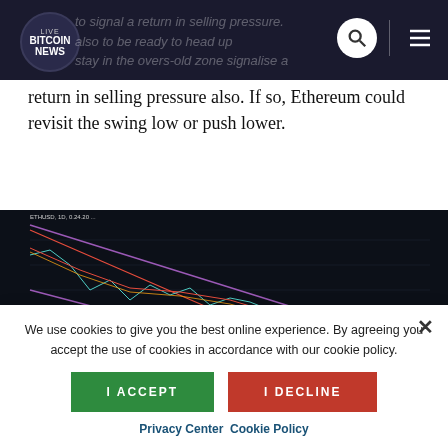LIVE BITCOIN NEWS
return in selling pressure also. If so, Ethereum could revisit the swing low or push lower.
[Figure (screenshot): Ethereum price chart showing a descending channel with candlestick price action, moving averages, and a highlighted horizontal support zone around the swing low area.]
We use cookies to give you the best online experience. By agreeing you accept the use of cookies in accordance with our cookie policy.
I ACCEPT
I DECLINE
Privacy Center   Cookie Policy